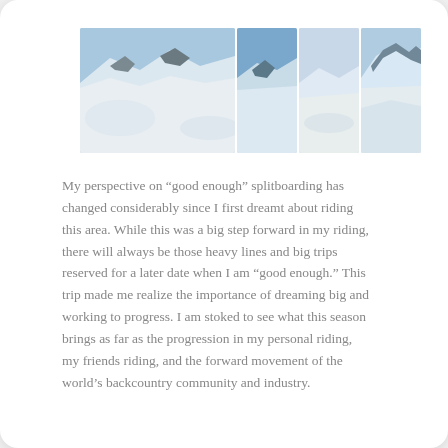[Figure (photo): A horizontal strip of four snow/mountain/backcountry photos: one large panoramic on the left showing snowy mountain ridgeline, and three smaller vertical photos showing snowy mountain terrain and backcountry splitboarding landscapes.]
My perspective on “good enough” splitboarding has changed considerably since I first dreamt about riding this area. While this was a big step forward in my riding, there will always be those heavy lines and big trips reserved for a later date when I am “good enough.” This trip made me realize the importance of dreaming big and working to progress. I am stoked to see what this season brings as far as the progression in my personal riding, my friends riding, and the forward movement of the world’s backcountry community and industry.